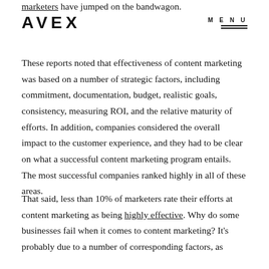marketers have jumped on the bandwagon.
AVEX   MENU
These reports noted that effectiveness of content marketing was based on a number of strategic factors, including commitment, documentation, budget, realistic goals, consistency, measuring ROI, and the relative maturity of efforts. In addition, companies considered the overall impact to the customer experience, and they had to be clear on what a successful content marketing program entails. The most successful companies ranked highly in all of these areas.
That said, less than 10% of marketers rate their efforts at content marketing as being highly effective. Why do some businesses fail when it comes to content marketing? It's probably due to a number of corresponding factors, as